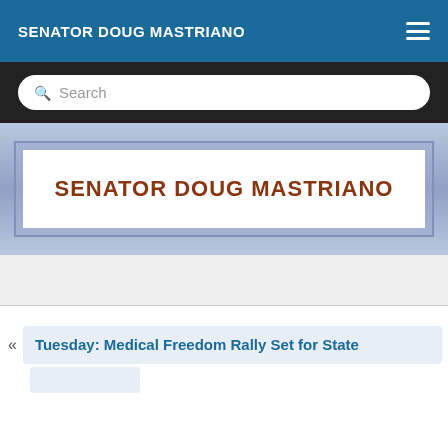SENATOR DOUG MASTRIANO
Search
SENATOR DOUG MASTRIANO
« Tuesday: Medical Freedom Rally Set for State